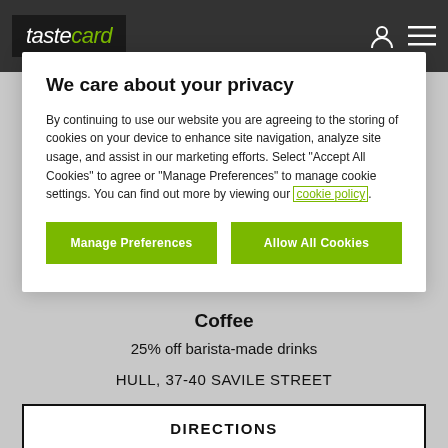tastecard
We care about your privacy
By continuing to use our website you are agreeing to the storing of cookies on your device to enhance site navigation, analyze site usage, and assist in our marketing efforts. Select “Accept All Cookies” to agree or “Manage Preferences” to manage cookie settings. You can find out more by viewing our cookie policy
Manage Preferences
Allow All Cookies
Coffee
25% off barista-made drinks
HULL, 37-40 SAVILE STREET
DIRECTIONS